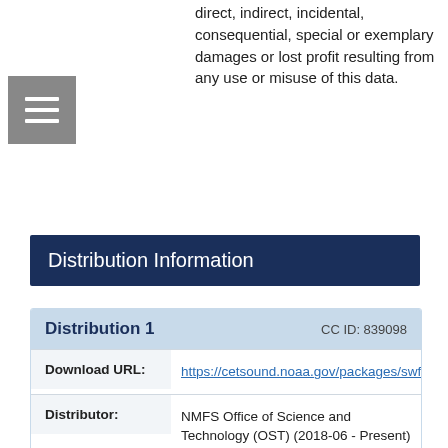direct, indirect, incidental, consequential, special or exemplary damages or lost profit resulting from any use or misuse of this data.
[Figure (other): Hamburger menu icon with three horizontal white lines on grey background]
Distribution Information
| Field | Value |
| --- | --- |
| Distribution 1 | CC ID: 839098 |
| Download URL: | https://cetsound.noaa.gov/packages/swfsc_CalCOFI_WinterSpring_Becker_et_al_2017.zip |
| Distributor: | NMFS Office of Science and Technology (OST) (2018-06 - Present) |
| Description: | Data access URL |